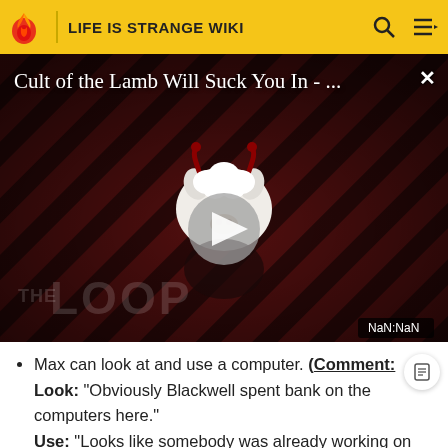LIFE IS STRANGE WIKI
[Figure (screenshot): Video thumbnail for 'Cult of the Lamb Will Suck You In - ...' showing a cartoon lamb character with devil horns on a diagonal striped red/dark background, with a play button in the center and 'THE LOOP' text watermark. NaN:NaN timestamp shown.]
Max can look at and use a computer. (Comment: Look: "Obviously Blackwell spent bank on the computers here." Use: "Looks like somebody was already working on this... cool."